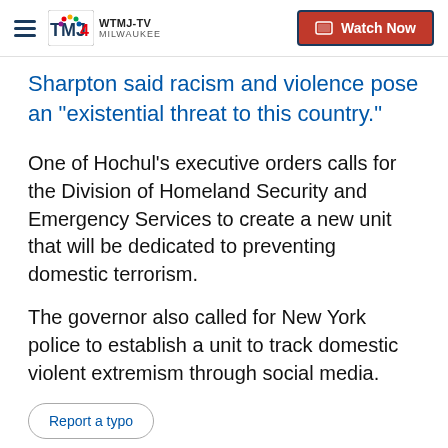WTMJ-TV MILWAUKEE | Watch Now
Sharpton said racism and violence pose an “existential threat to this country.”
One of Hochul’s executive orders calls for the Division of Homeland Security and Emergency Services to create a new unit that will be dedicated to preventing domestic terrorism.
The governor also called for New York police to establish a unit to track domestic violent extremism through social media.
Report a typo